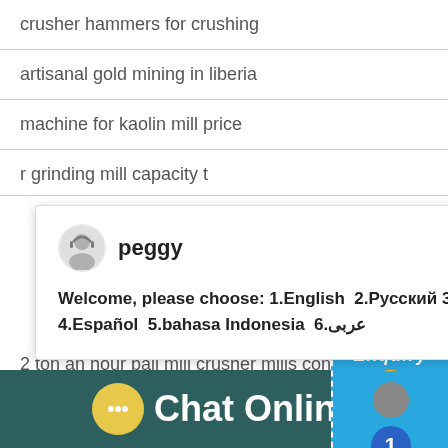crusher hammers for crushing
artisanal gold mining in liberia
machine for kaolin mill price
r grinding mill capacity t
[Figure (screenshot): Chat popup with avatar of 'peggy' and message: Welcome, please choose: 1.English 2.Русский 3.Français 4.Español 5.bahasa Indonesia 6.عربى]
2 ton an hour ball mill crusher mills cone cr...
copper ore hydraulic impact crusher
beneficiation of large ores malaysia
[Figure (screenshot): Blue live chat widget with badge '1' and 'Click me to chat >>' button, and Enquiry bar]
Chat Online